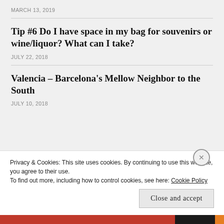MARCH 13, 2019
Tip #6 Do I have space in my bag for souvenirs or wine/liquor? What can I take?
JULY 22, 2018
Valencia – Barcelona's Mellow Neighbor to the South
JULY 10, 2018
Privacy & Cookies: This site uses cookies. By continuing to use this website, you agree to their use.
To find out more, including how to control cookies, see here: Cookie Policy
Close and accept